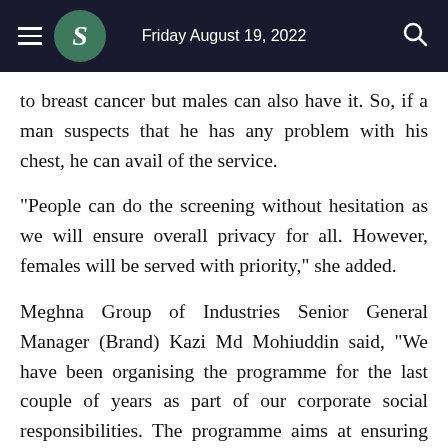Friday August 19, 2022
to breast cancer but males can also have it. So, if a man suspects that he has any problem with his chest, he can avail of the service.
"People can do the screening without hesitation as we will ensure overall privacy for all. However, females will be served with priority," she added.
Meghna Group of Industries Senior General Manager (Brand) Kazi Md Mohiuddin said, "We have been organising the programme for the last couple of years as part of our corporate social responsibilities. The programme aims at ensuring early diagnosis of the symptoms before it becomes